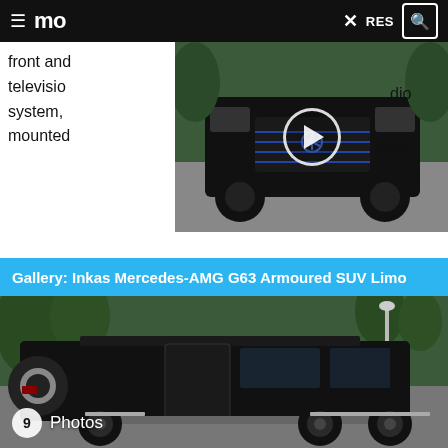mo  ×  RES 🔍
front and television radio system, deck mounted
[Figure (photo): Black Mercedes-AMG G63 SUV limo viewed from front-right angle with play button overlay indicating video content]
Gallery: Inkas Mercedes-AMG G63 Armoured SUV Limo
[Figure (photo): Black Inkas Mercedes-AMG G63 Armoured SUV Limo viewed from rear-right angle with door open, showing extended wheelbase. Badge showing '9 Photos' in bottom left.]